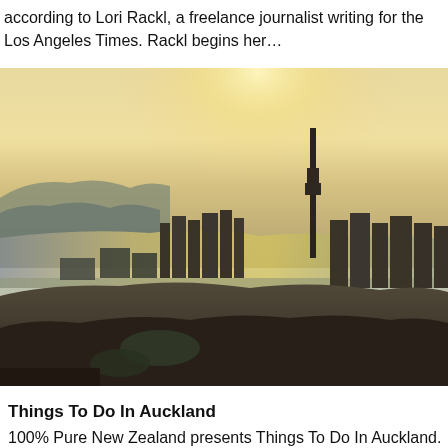according to Lori Rackl, a freelance journalist writing for the Los Angeles Times. Rackl begins her…
[Figure (photo): Aerial photograph of Auckland city skyline at sunset/golden hour, showing the city center with the Sky Tower, waterfront, harbor, and surrounding urban areas bathed in warm golden light.]
Things To Do In Auckland
100% Pure New Zealand presents Things To Do In Auckland. New